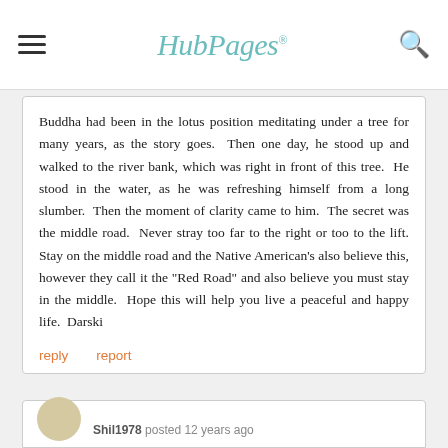HubPages
Buddha had been in the lotus position meditating under a tree for many years, as the story goes.  Then one day, he stood up and walked to the river bank, which was right in front of this tree.  He stood in the water, as he was refreshing himself from a long slumber.  Then the moment of clarity came to him.  The secret was the middle road.  Never stray too far to the right or too to the lift. Stay on the middle road and the Native American's also believe this, however they call it the "Red Road" and also believe you must stay in the middle.  Hope this will help you live a peaceful and happy life.  Darski
reply   report